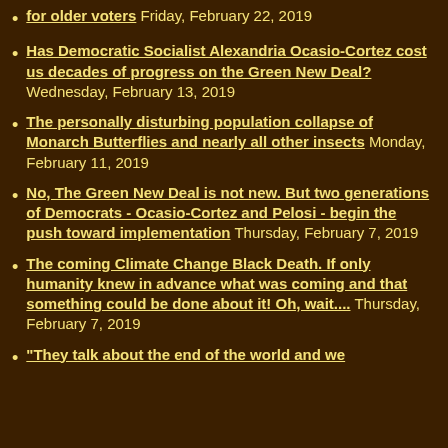for older voters Friday, February 22, 2019
Has Democratic Socialist Alexandria Ocasio-Cortez cost us decades of progress on the Green New Deal? Wednesday, February 13, 2019
The personally disturbing population collapse of Monarch Butterflies and nearly all other insects Monday, February 11, 2019
No, The Green New Deal is not new. But two generations of Democrats - Ocasio-Cortez and Pelosi - begin the push toward implementation Thursday, February 7, 2019
The coming Climate Change Black Death. If only humanity knew in advance what was coming and that something could be done about it! Oh, wait.... Thursday, February 7, 2019
"They talk about the end of the world and we